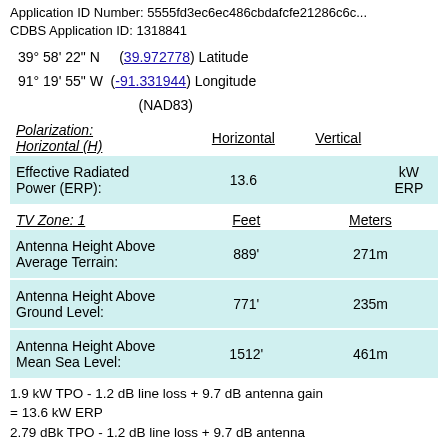Application ID Number: 5555fd3ec6ec486cbdafcfe21286c6c... CDBS Application ID: 1318841
39° 58' 22" N    (39.972778) Latitude
91° 19' 55" W  (-91.331944) Longitude (NAD83)
| Polarization: Horizontal (H) | Horizontal | Vertical |  |
| --- | --- | --- | --- |
| Effective Radiated Power (ERP): | 13.6 |  | kW ERP |
| TV Zone: 1 | Feet | Meters |
| --- | --- | --- |
| Antenna Height Above Average Terrain: | 889' | 271m |
| Antenna Height Above Ground Level: | 771' | 235m |
| Antenna Height Above Mean Sea Level: | 1512' | 461m |
1.9 kW TPO - 1.2 dB line loss + 9.7 dB antenna gain = 13.6 kW ERP
2.79 dBk TPO - 1.2 dB line loss + 9.7 dB antenna